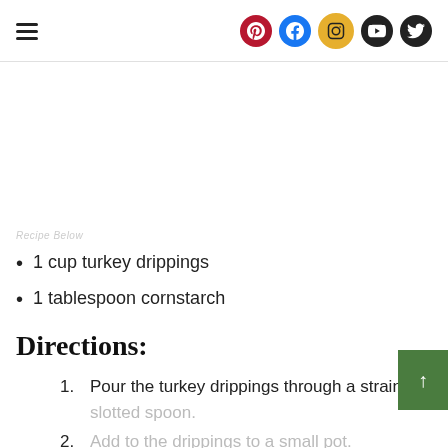Navigation header with hamburger menu and social media icons (Pinterest, Facebook, Instagram, YouTube, Twitter)
Recipe Below
1 cup turkey drippings
1 tablespoon cornstarch
Directions:
1. Pour the turkey drippings through a strainer or slotted spoon.
2. Add to the drippings to a small pot.